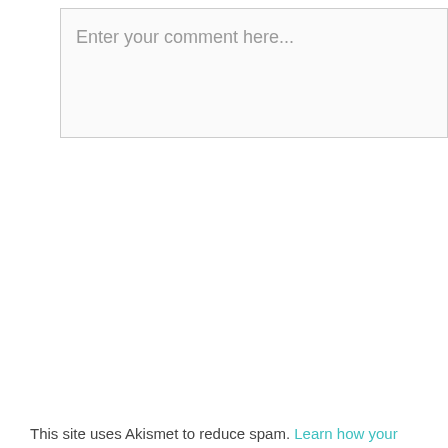[Figure (screenshot): Comment input text area with placeholder text 'Enter your comment here...']
This site uses Akismet to reduce spam. Learn how your